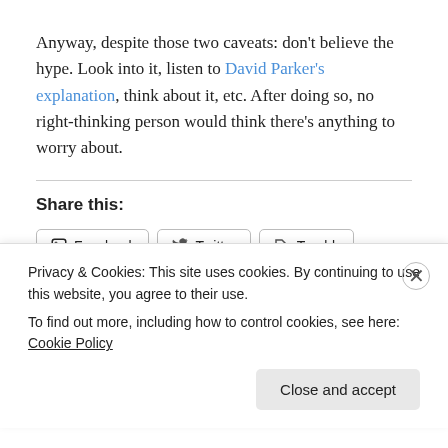Anyway, despite those two caveats: don’t believe the hype. Look into it, listen to David Parker’s explanation, think about it, etc. After doing so, no right-thinking person would think there’s anything to worry about.
Share this:
Facebook | Twitter | Tumblr | Reddit | LinkedIn | Pinterest | WhatsApp | Email
Privacy & Cookies: This site uses cookies. By continuing to use this website, you agree to their use.
To find out more, including how to control cookies, see here: Cookie Policy
Close and accept